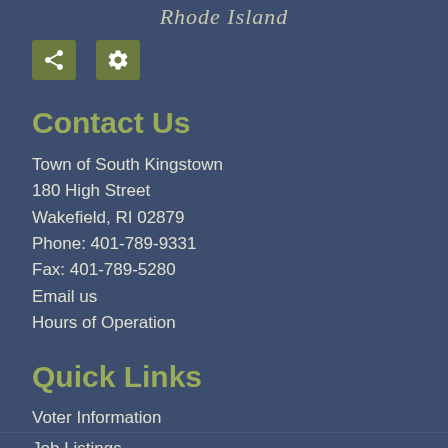Rhode Island
[Figure (infographic): Two icon buttons: a share icon and a settings/gear icon, both on olive/green square backgrounds]
Contact Us
Town of South Kingstown
180 High Street
Wakefield, RI 02879
Phone: 401-789-9331
Fax: 401-789-5280
Email us
Hours of Operation
Quick Links
Voter Information
Job Listings
Land Records
Staff Directory
School Department